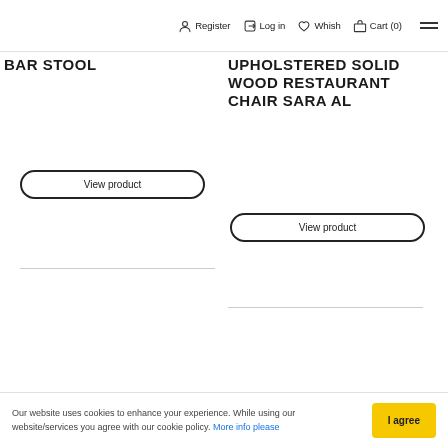Register  Log in  Whish  Cart (0)
BAR STOOL
UPHOLSTERED SOLID WOOD RESTAURANT CHAIR SARA AL
View product
View product
SERVICES
Our website uses cookies to enhance your experience. While using our website/services you agree with our cookie policy. More info please